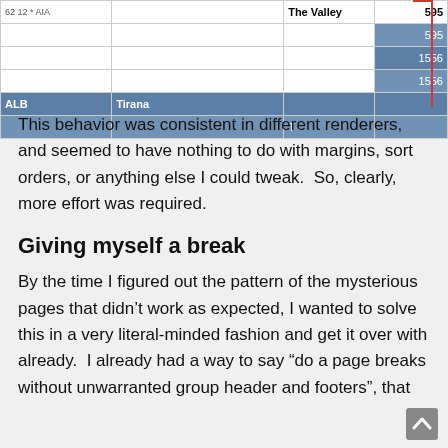|  |  | The Valley | 595 |
| --- | --- | --- | --- |
|  |  |  | 595 |
|  |  |  | 1556 |
|  |  |  | 1556 |
| ALB | Tirana |  |  |
|  |  | T |  |
This behavior was consistent in different renderers, and seemed to have nothing to do with margins, sort orders, or anything else I could tweak.  So, clearly, more effort was required.
Giving myself a break
By the time I figured out the pattern of the mysterious pages that didn't work as expected, I wanted to solve this in a very literal-minded fashion and get it over with already.  I already had a way to say “do a page breaks without unwarranted group header and footers”, that